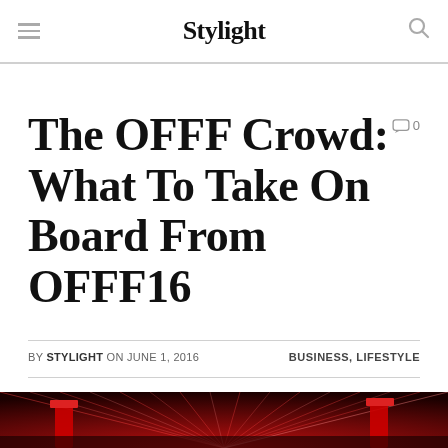Stylight
The OFFF Crowd: What To Take On Board From OFFF16
BY STYLIGHT ON JUNE 1, 2016   BUSINESS, LIFESTYLE
[Figure (photo): Event venue with dramatic red laser light beams radiating from a central point over a crowd, with red cylindrical structures visible.]